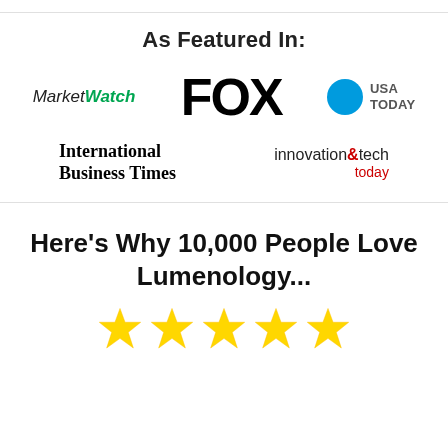As Featured In:
[Figure (logo): MarketWatch logo in italic text, 'Market' in dark and 'Watch' in green]
[Figure (logo): FOX logo in large bold black text]
[Figure (logo): USA TODAY logo with blue circle and bold text]
[Figure (logo): International Business Times logo in bold serif font]
[Figure (logo): innovation&tech today logo with red ampersand and 'today' in red]
Here’s Why 10,000 People Love Lumenology...
[Figure (illustration): Five gold star rating icons]